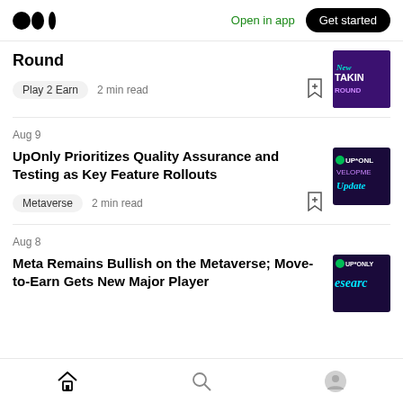Medium logo | Open in app | Get started
Round
Play 2 Earn  2 min read
Aug 9
UpOnly Prioritizes Quality Assurance and Testing as Key Feature Rollouts
Metaverse  2 min read
Aug 8
Meta Remains Bullish on the Metaverse; Move-to-Earn Gets New Major Player
Home | Search | Profile